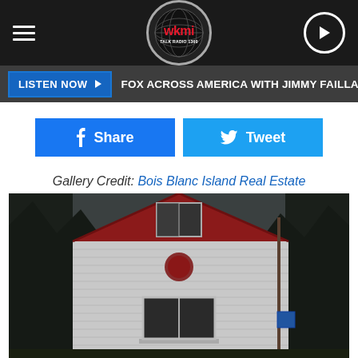wkmi TALK RADIO 1360
LISTEN NOW ▶  FOX ACROSS AMERICA WITH JIMMY FAILLA
f Share
Tweet
Gallery Credit: Bois Blanc Island Real Estate
[Figure (photo): Exterior photo of a white A-frame style house with red trim, surrounded by trees]